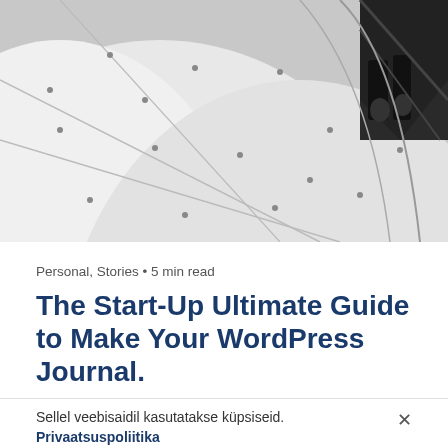[Figure (photo): Black and white close-up photograph of an aircraft or vehicle fuselage surface with rivets and structural details, showing curved white panels and dark mechanical components in the upper right corner.]
Personal, Stories • 5 min read
The Start-Up Ultimate Guide to Make Your WordPress Journal.
Sellel veebisaidil kasutatakse küpsiseid.
Privaatsuspoliitika
scrum project...